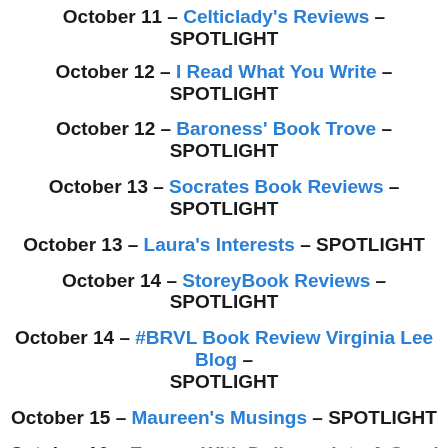October 11 – Celticlady's Reviews – SPOTLIGHT
October 12 – I Read What You Write – SPOTLIGHT
October 12 – Baroness' Book Trove – SPOTLIGHT
October 13 – Socrates Book Reviews – SPOTLIGHT
October 13 – Laura's Interests – SPOTLIGHT
October 14 – StoreyBook Reviews – SPOTLIGHT
October 14 – #BRVL Book Review Virginia Lee Blog – SPOTLIGHT
October 15 – Maureen's Musings – SPOTLIGHT
October 16 – Escape With Dollycas Into A Good Book – SPOTLIGHT